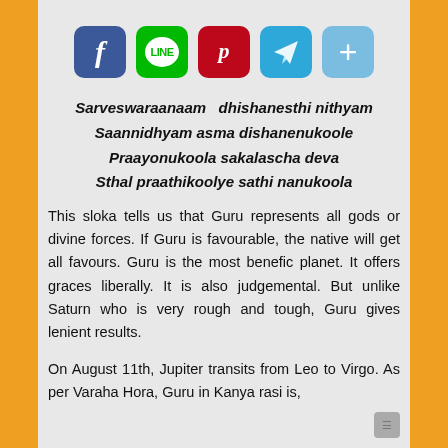[Figure (infographic): Row of 5 social share icons: Facebook (blue), LINE (green), Pinterest (red), Telegram (light blue), More/Share (blue with plus sign)]
Sarveswaraanaam  dhishanesthi nithyam
Saannidhyam asma dishanenukoole
Praayonukoola sakalascha deva
Sthal praathikoolye sathi nanukoola
This sloka tells us that Guru represents all gods or divine forces. If Guru is favourable, the native will get all favours. Guru is the most benefic planet. It offers graces liberally. It is also judgemental. But unlike Saturn who is very rough and tough, Guru gives lenient results.
On August 11th, Jupiter transits from Leo to Virgo. As per Varaha Hora, Guru in Kanya rasi is,